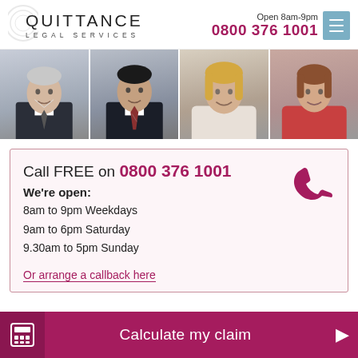[Figure (logo): Quittance Legal Services logo with circular arc graphic on left]
Open 8am-9pm
0800 376 1001
[Figure (photo): Photo strip showing four professional people (two men in suits, two women) smiling]
Call FREE on 0800 376 1001
We're open:
8am to 9pm Weekdays
9am to 6pm Saturday
9.30am to 5pm Sunday
Or arrange a callback here
Calculate my claim